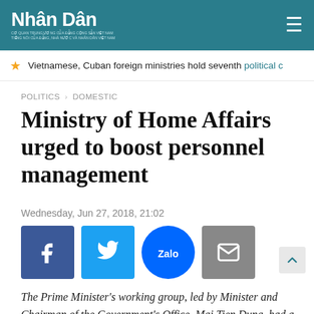Nhân Dân
Vietnamese, Cuban foreign ministries hold seventh political c
POLITICS > DOMESTIC
Ministry of Home Affairs urged to boost personnel management
Wednesday, Jun 27, 2018, 21:02
[Figure (other): Social media sharing buttons: Facebook, Twitter, Zalo, Email]
The Prime Minister's working group, led by Minister and Chairman of the Government's Office, Mai Tien Dung, had a working session with the Ministry of Home Affairs (MHA) on June 27, to review the tasks assigned by the Government over recent years.